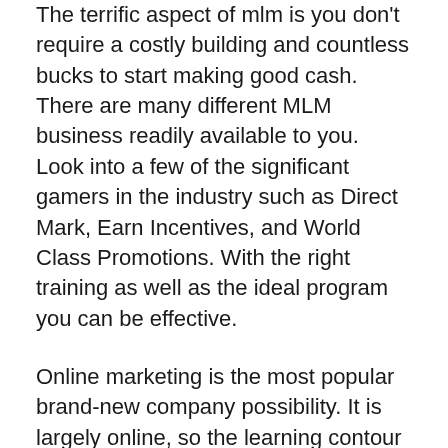The terrific aspect of mlm is you don't require a costly building and countless bucks to start making good cash. There are many different MLM business readily available to you. Look into a few of the significant gamers in the industry such as Direct Mark, Earn Incentives, and World Class Promotions. With the right training as well as the ideal program you can be effective.
Online marketing is the most popular brand-new company possibility. It is largely online, so the learning contour is much easier. It does take a lot of initiative to find out how to establish up your very own blog, internet site, and also MySpace or Facebook page. Nevertheless, as soon as you have those things in place it is feasible to make a